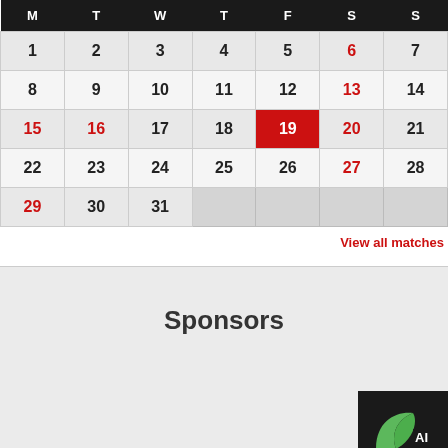| M | T | W | T | F | S | S |
| --- | --- | --- | --- | --- | --- | --- |
| 1 | 2 | 3 | 4 | 5 | 6 | 7 |
| 8 | 9 | 10 | 11 | 12 | 13 | 14 |
| 15 | 16 | 17 | 18 | 19 | 20 | 21 |
| 22 | 23 | 24 | 25 | 26 | 27 | 28 |
| 29 | 30 | 31 |  |  |  |  |
View all matches
Sponsors
[Figure (logo): Sponsor logo with green leaf/wing icon on black background]